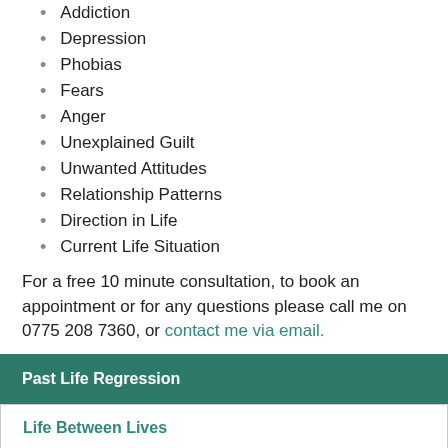Addiction
Depression
Phobias
Fears
Anger
Unexplained Guilt
Unwanted Attitudes
Relationship Patterns
Direction in Life
Current Life Situation
For a free 10 minute consultation, to book an appointment or for any questions please call me on 0775 208 7360, or contact me via email.
Past Life Regression
Life Between Lives